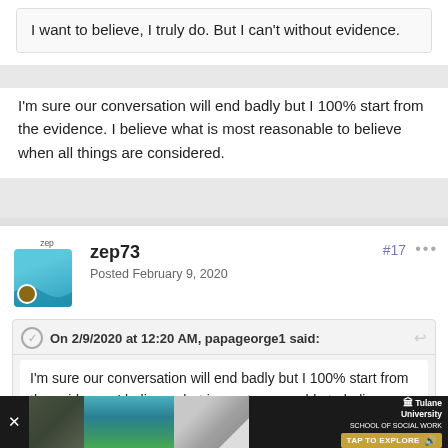I want to believe, I truly do. But I can't without evidence.
I'm sure our conversation will end badly but I 100% start from the evidence. I believe what is most reasonable to believe when all things are considered.
zep73
Posted February 9, 2020
#17
On 2/9/2020 at 12:20 AM, papageorge1 said:
I'm sure our conversation will end badly but I 100% start from the evidence. I believe what is most reasonable to believe when all things are considered.
[Figure (screenshot): Advertisement banner at bottom: Tulane University School of Social Work with TAP TO EXPLORE call to action]